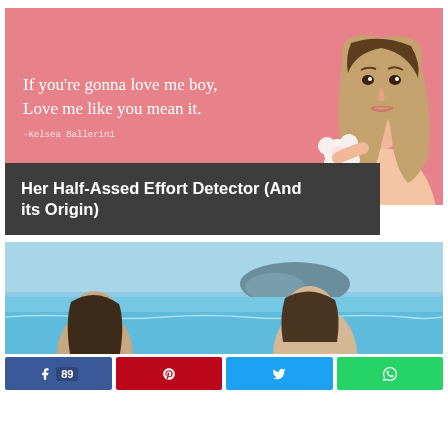[Figure (illustration): Pink background with a blonde woman holding a white flower, overlaid with a quote: 'If you're gonna love me boy, Love me like you mean it.' attributed to Kelsea Ballerini]
Her Half-Assed Effort Detector (And its Origin)
[Figure (photo): Two people at a beach/ocean scene with a mountain in the background]
89 Facebook shares, Pinterest, Twitter, WhatsApp social sharing buttons